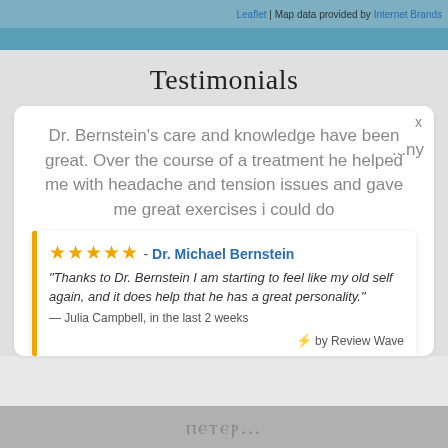Leaflet | Map data provided by Internet Brands
Testimonials
Dr. Bernstein's care and knowledge have been great. Over the course of a treatment he helped me with headache and tension issues and gave me great exercises i could do ...ny
★★★★★ - Dr. Michael Bernstein
"Thanks to Dr. Bernstein I am starting to feel like my old self again, and it does help that he has a great personality."
— Julia Campbell, in the last 2 weeks
⚡ by Review Wave